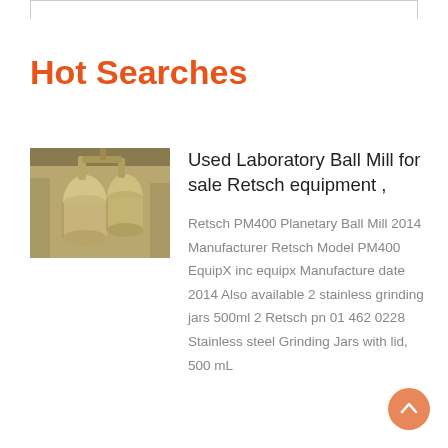Hot Searches
[Figure (photo): Industrial ball mill equipment with large cylindrical containers and pipes in a factory setting]
Used Laboratory Ball Mill for sale Retsch equipment ,
Retsch PM400 Planetary Ball Mill 2014 Manufacturer Retsch Model PM400 EquipX inc equipx Manufacture date 2014 Also available 2 stainless grinding jars 500ml 2 Retsch pn 01 462 0228 Stainless steel Grinding Jars with lid, 500 mL